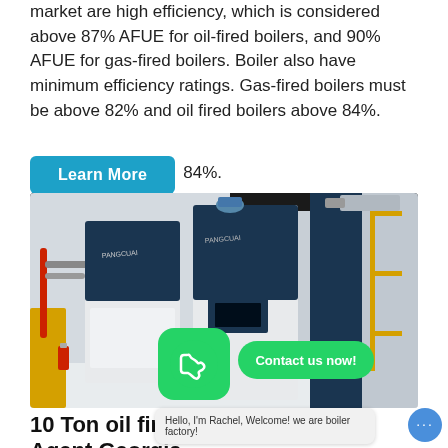market are high efficiency, which is considered above 87% AFUE for oil-fired boilers, and 90% AFUE for gas-fired boilers. Boiler also have minimum efficiency ratings. Gas-fired boilers must be above 82% and oil fired boilers above 84%.
[Figure (photo): Industrial boiler room with large dark blue and white boiler units installed, pipes, yellow scaffolding structure, and a fire extinguisher visible. WhatsApp contact button overlay visible.]
10 Ton oil fired Boiler Plant Agent Georgia